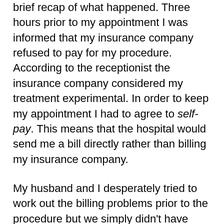brief recap of what happened. Three hours prior to my appointment I was informed that my insurance company refused to pay for my procedure. According to the receptionist the insurance company considered my treatment experimental. In order to keep my appointment I had to agree to self-pay. This means that the hospital would send me a bill directly rather than billing my insurance company.
My husband and I desperately tried to work out the billing problems prior to the procedure but we simply didn't have time and the receptionists refused to provide any information that would help us resolve the issue. They told me I had to pay $1000 on the spot in order to be treated. They